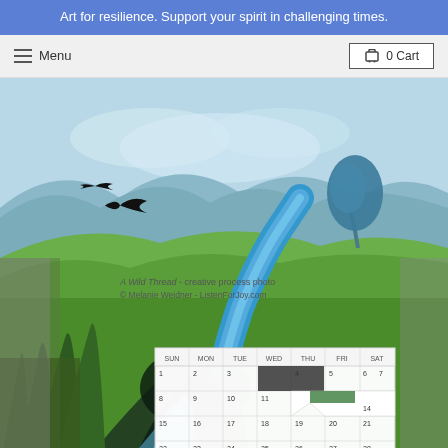Art for resilience. Support your spirit in challenging times.
Menu | 0 Cart
[Figure (photo): A vibrant painting titled 'A Wild Thread' by Melanie Weidner (ListenForJoy.com) showing a lush green landscape with a winding blue river/stream, rolling hills, a blue tree, a black bird in flight, and dark swirling grasses in the foreground. A monthly calendar is overlaid on the lower-right portion of the painting, with some calendar squares torn away to reveal the artwork beneath.]